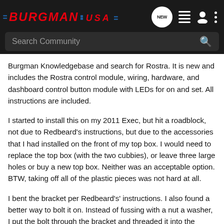BURGMAN USA — Navigation header with search bar
Burgman Knowledgebase and search for Rostra. It is new and includes the Rostra control module, wiring, hardware, and dashboard control button module with LEDs for on and set. All instructions are included.
I started to install this on my 2011 Exec, but hit a roadblock, not due to Redbeard's instructions, but due to the accessories that I had installed on the front of my top box. I would need to replace the top box (with the two cubbies), or leave three large holes or buy a new top box. Neither was an acceptable option. BTW, taking off all of the plastic pieces was not hard at all.
I bent the bracket per Redbeard's' instructions. I also found a better way to bolt it on. Instead of fussing with a nut a washer, I put the bolt through the bracket and threaded it into the security